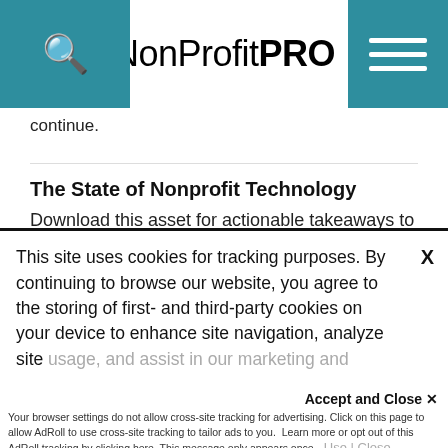NonProfit PRO
continue.
The State of Nonprofit Technology
Download this asset for actionable takeaways to enhance your fundraising, communication, and leadership strategies for 2022.
This site uses cookies for tracking purposes. By continuing to browse our website, you agree to the storing of first- and third-party cookies on your device to enhance site navigation, analyze site usage, and assist in our marketing and
Accept and Close ✕
Your browser settings do not allow cross-site tracking for advertising. Click on this page to allow AdRoll to use cross-site tracking to tailor ads to you. Learn more or opt out of this AdRoll tracking by clicking here. This message only appears once.